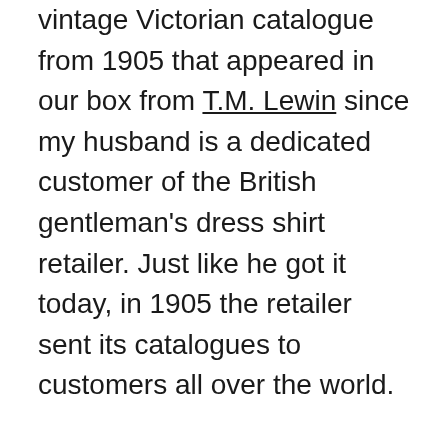vintage Victorian catalogue from 1905 that appeared in our box from T.M. Lewin since my husband is a dedicated customer of the British gentleman's dress shirt retailer. Just like he got it today, in 1905 the retailer sent its catalogues to customers all over the world.
Now cast your imagination back to a time, ladies and gentlemen, when men wore three-piece lounge suits, collars starched and in place, ties knotted perfectly and jackets narrow with small, high lapels. A bowler cap, and sometimes, a flat cap completed the picture. Young men had short hair and trimmed moustaches. Beards were not so popular with the young as is the trend with the